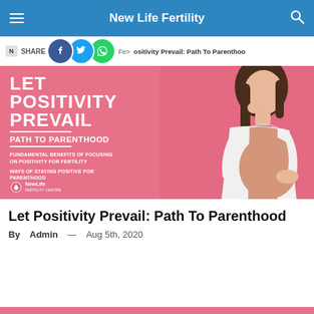New Life Fertility
NSHARE Fertility Positivity Prevail: Path To Parenthood
[Figure (illustration): Promotional banner on pink background showing a pregnant woman. Text overlay reads: LET POSITIVITY PREVAIL - PATH TO PARENTHOOD - FUNDAMENTAL BENEFITS OF FOCUSING ON POSITIVITY FOR FERTILITY - WAYS OF STAYING POSITIVE FOR PARENTHOOD. NewLife logo at bottom left.]
Let Positivity Prevail: Path To Parenthood
By Admin — Aug 5th, 2020